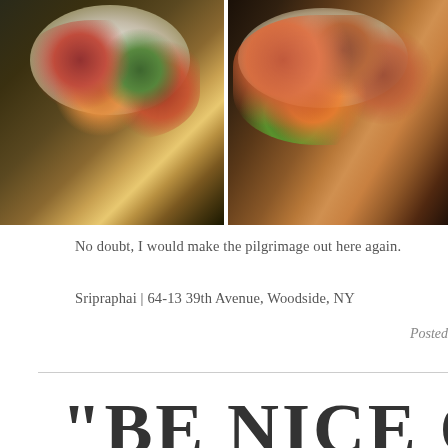[Figure (photo): Two food photos side by side: left shows a salad/vegetable dish on a white plate on a dark table; right shows a meat/seafood dish with sauce on a white plate.]
No doubt, I would make the pilgrimage out here again.
Sripraphai | 64-13 39th Avenue, Woodside, NY
Posted
"BE NICE O HOME"